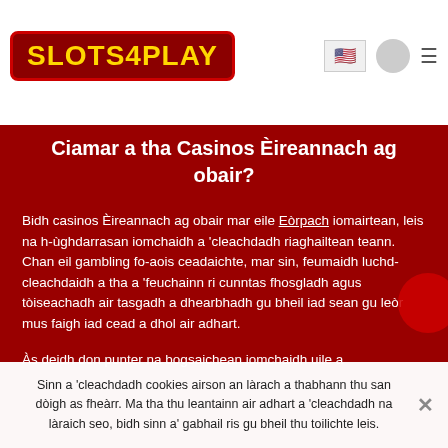[Figure (logo): Slots4Play logo with yellow text on dark red background with red border]
Ciamar a tha Casinos Èireannach ag obair?
Bidh casinos Èireannach ag obair mar eile Eòrpach iomairtean, leis na h-ùghdarrasan iomchaidh a 'cleachdadh riaghailtean teann. Chan eil gambling fo-aois ceadaichte, mar sin, feumaidh luchd-cleachdaidh a tha a 'feuchainn ri cunntas fhosgladh agus tòiseachadh air tasgadh a dhearbhadh gu bheil iad sean gu leòr mus faigh iad cead a dhol air adhart.
Às deidh don punter na bogsaichean iomchaidh uile a...
Sinn a 'cleachdadh cookies airson an làrach a thabhann thu san dòigh as fheàrr. Ma tha thu leantainn air adhart a 'cleachdadh na làraich seo, bidh sinn a' gabhail ris gu bheil thu toilichte leis.